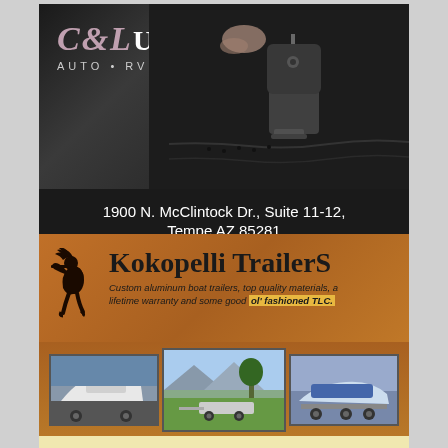[Figure (photo): C&L Upholstery LLC advertisement. Top half shows a close-up photo of a sewing machine needle stitching dark leather material. The C&L Upholstery LLC logo with tagline AUTO • RV • MARINE is overlaid on the photo. Bottom half on dark background shows contact info: 1900 N. McClintock Dr., Suite 11-12, Tempe AZ 85281, 480.621.7725 • clupholstery.net]
[Figure (photo): Kokopelli Trailers advertisement. Features orange/wood-grain background with black Kokopelli flute player figure logo. Title reads 'Kokopelli TrailerS'. Tagline: 'Custom aluminum boat trailers, top quality materials, a lifetime warranty and some good ol' fashioned TLC.' Three photos of boat trailers shown. Bottom cream section reads: 'Serving the west coast, east coast, great lakes & Canada with quality aluminum boat trailers! All our trailers are built']